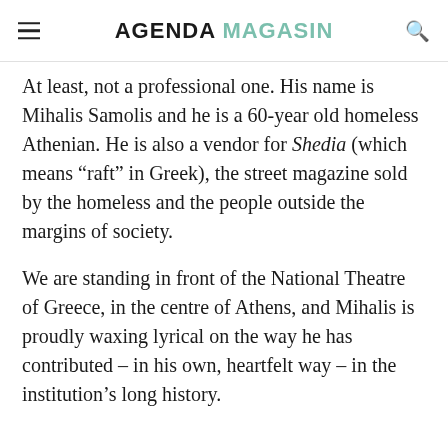AGENDA MAGASIN
At least, not a professional one. His name is Mihalis Samolis and he is a 60-year old homeless Athenian. He is also a vendor for Shedia (which means “raft” in Greek), the street magazine sold by the homeless and the people outside the margins of society.
We are standing in front of the National Theatre of Greece, in the centre of Athens, and Mihalis is proudly waxing lyrical on the way he has contributed – in his own, heartfelt way – in the institution’s long history.